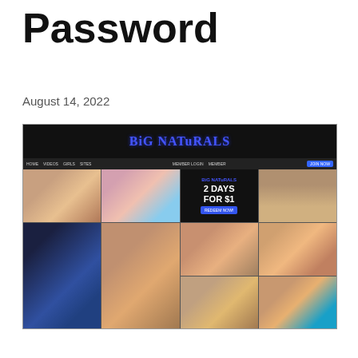Password
August 14, 2022
[Figure (screenshot): Screenshot of Big Naturals adult website showing grid of thumbnail images and a promotional banner offering 2 days for $1]